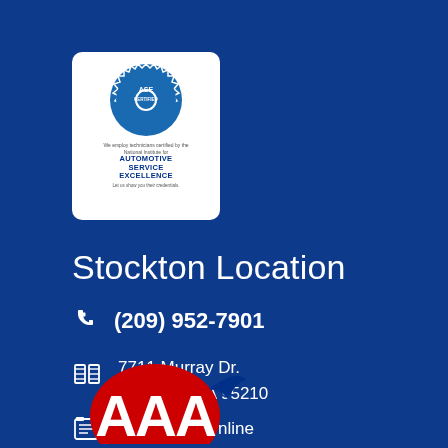[Figure (logo): ASE Certified Automotive Service Excellence logo — gear-shaped badge with ASE text, on white background card]
Stockton Location
(209) 952-7901
7711 Murray Dr.
Stockton, CA 95210
Contact Us Online
[Figure (logo): AAA logo — red oval with white triple-A letters and blue swoosh]